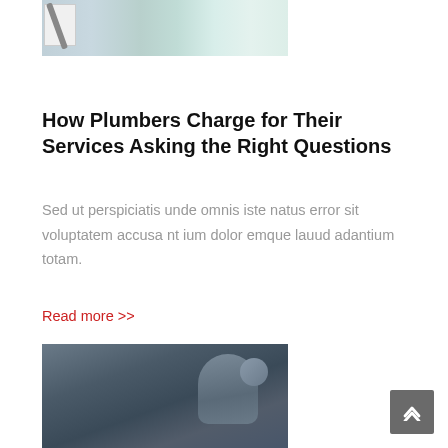[Figure (photo): Top portion of a photo showing color swatches, pencil, keys, and design materials on a white surface]
How Plumbers Charge for Their Services Asking the Right Questions
Sed ut perspiciatis unde omnis iste natus error sit voluptatem accusa nt ium dolor emque lauud adantium totam.
Read more >>
[Figure (photo): A male plumber with beard wearing a dark cap, looking up under a sink, with pipes visible around him]